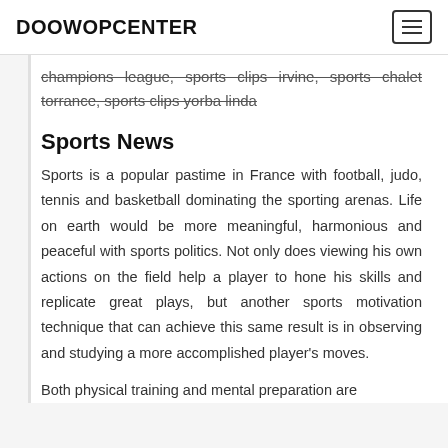DOOWOPCENTER
champions league, sports clips irvine, sports chalet torrance, sports clips yorba linda
Sports News
Sports is a popular pastime in France with football, judo, tennis and basketball dominating the sporting arenas. Life on earth would be more meaningful, harmonious and peaceful with sports politics. Not only does viewing his own actions on the field help a player to hone his skills and replicate great plays, but another sports motivation technique that can achieve this same result is in observing and studying a more accomplished player’s moves.
Both physical training and mental preparation are